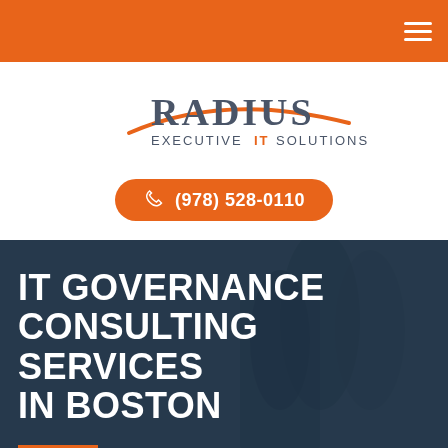Navigation header bar with hamburger menu
[Figure (logo): Radius Executive IT Solutions logo with orange arc swoosh and gray text]
(978) 528-0110
[Figure (photo): Dark overlaid photo of business people in a meeting room]
IT GOVERNANCE CONSULTING SERVICES IN BOSTON